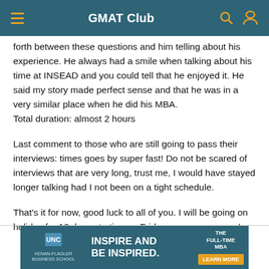GMAT Club
forth between these questions and him telling about his experience. He always had a smile when talking about his time at INSEAD and you could tell that he enjoyed it. He said my story made perfect sense and that he was in a very similar place when he did his MBA.
Total duration: almost 2 hours
Last comment to those who are still going to pass their interviews: times goes by super fast! Do not be scared of interviews that are very long, trust me, I would have stayed longer talking had I not been on a tight schedule.
That's it for now, good luck to all of you. I will be going on holiday for 10 days starting on Friday, so see you soon!
[Figure (infographic): UNC Kenan-Flagler Business School advertisement banner: INSPIRE AND BE INSPIRED. THE FULL-TIME MBA. LEARN MORE button.]